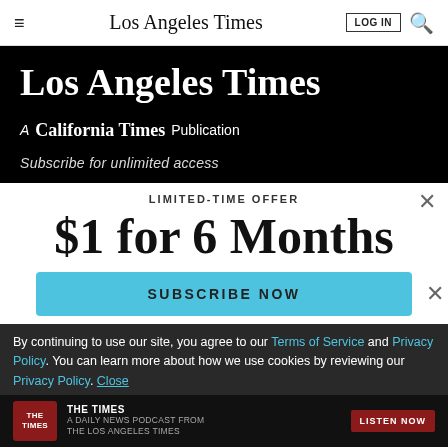Los Angeles Times
[Figure (logo): Los Angeles Times masthead logo in large blackletter font on black background, with subtitle 'A California Times Publication']
Subscribe for unlimited access
LIMITED-TIME OFFER
$1 for 6 Months
SUBSCRIBE NOW
By continuing to use our site, you agree to our Terms of Service and Privacy Policy. You can learn more about how we use cookies by reviewing our Privacy Policy. Close
[Figure (screenshot): THE TIMES podcast strip - A Daily News Podcast From The Los Angeles Times with LISTEN NOW button]